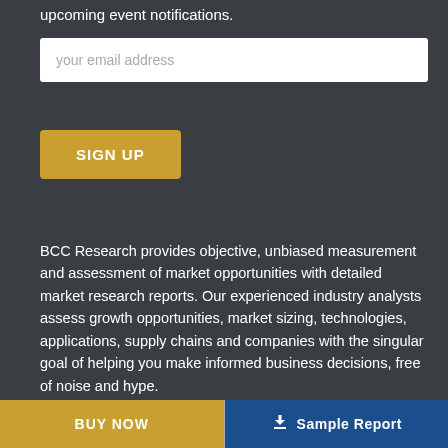upcoming event notifications.
your email address
SIGN UP
BCC Research provides objective, unbiased measurement and assessment of market opportunities with detailed market research reports. Our experienced industry analysts assess growth opportunities, market sizing, technologies, applications, supply chains and companies with the singular goal of helping you make informed business decisions, free of noise and hype.
Contact
BUY NOW
Sample Report